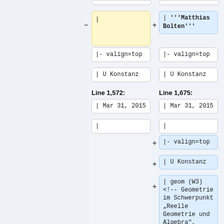| (removed box, yellow)
| '''Matthias Bolten''' (added box, blue)
|- valign=top
|- valign=top
| U Konstanz
| U Konstanz
Line 1,572:
Line 1,675:
| Mar 31, 2015
| Mar 31, 2015
|
|
|- valign=top (added)
| U Konstanz (added)
| geom (W3) <!-- Geometrie im Schwerpunkt „Reelle Geometrie und Algebra", 2015/038 --> (added)